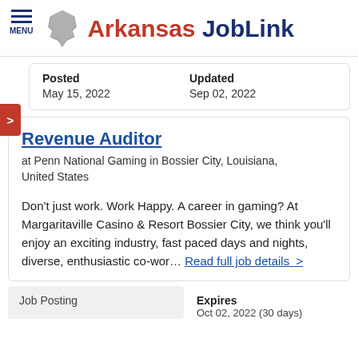MENU — Arkansas JobLink
| Posted | Updated |
| --- | --- |
| May 15, 2022 | Sep 02, 2022 |
Revenue Auditor
at Penn National Gaming in Bossier City, Louisiana, United States
Don't just work. Work Happy. A career in gaming? At Margaritaville Casino & Resort Bossier City, we think you'll enjoy an exciting industry, fast paced days and nights, diverse, enthusiastic co-wor… Read full job details  >
| Job Posting | Expires |
| --- | --- |
|  | Oct 02, 2022 (30 days) |